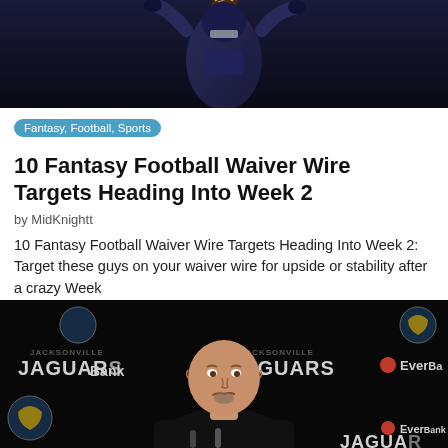[Figure (photo): Football player catching a ball, wearing dark uniform, action shot against dark background]
Fantasy, Football, Sports
10 Fantasy Football Waiver Wire Targets Heading Into Week 2
by MidKnightt
10 Fantasy Football Waiver Wire Targets Heading Into Week 2: Target these guys on your waiver wire for upside or stability after a crazy Week
fantasy, Fantasy football, ffb, football, news, nfl, nfl draft, players, sports
Read More
[Figure (photo): Bald man in black shirt at Jacksonville Jaguars press conference backdrop with JAGUARS branding and EverBank sponsor logos]